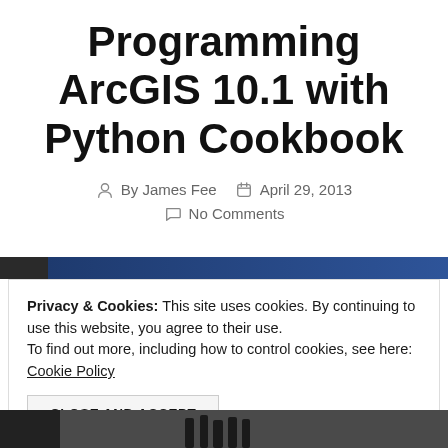Programming ArcGIS 10.1 with Python Cookbook
By James Fee  April 29, 2013  No Comments
[Figure (screenshot): Website header bar with dark and navy blue gradient strip]
Privacy & Cookies: This site uses cookies. By continuing to use this website, you agree to their use. To find out more, including how to control cookies, see here: Cookie Policy
CLOSE AND ACCEPT
[Figure (photo): Bottom portion of an image showing silhouettes of people walking in a snowy or outdoor scene]